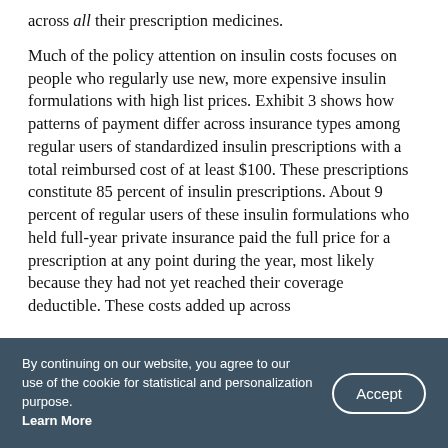across all their prescription medicines.
Much of the policy attention on insulin costs focuses on people who regularly use new, more expensive insulin formulations with high list prices. Exhibit 3 shows how patterns of payment differ across insurance types among regular users of standardized insulin prescriptions with a total reimbursed cost of at least $100. These prescriptions constitute 85 percent of insulin prescriptions. About 9 percent of regular users of these insulin formulations who held full-year private insurance paid the full price for a prescription at any point during the year, most likely because they had not yet reached their coverage deductible. These costs added up across
By continuing on our website, you agree to our use of the cookie for statistical and personalization purpose. Learn More
Accept